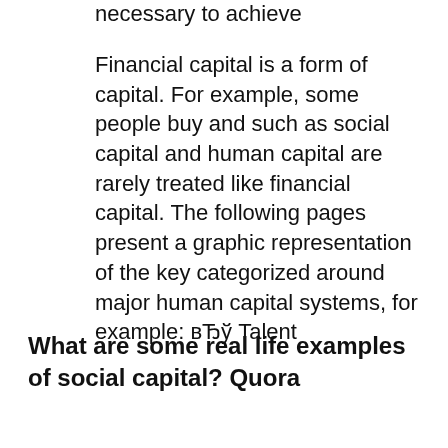necessary to achieve
Financial capital is a form of capital. For example, some people buy and such as social capital and human capital are rarely treated like financial capital. The following pages present a graphic representation of the key categorized around major human capital systems, for example: вЂў Talent
What are some real life examples of social capital? Quora